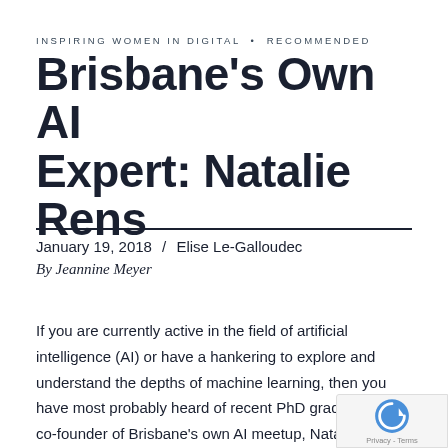INSPIRING WOMEN IN DIGITAL • RECOMMENDED
Brisbane's Own AI Expert: Natalie Rens
January 19, 2018  /  Elise Le-Galloudec
By Jeannine Meyer
If you are currently active in the field of artificial intelligence (AI) or have a hankering to explore and understand the depths of machine learning, then you have most probably heard of recent PhD graduate and co-founder of Brisbane's own AI meetup, Natalie Rens. What is even more intriguing is how this South African born ballet dancer turned neuroscience extraordin...